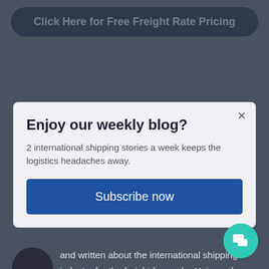[Figure (screenshot): Dark navy rounded rectangle button at the top of the page reading 'Click Here for Free Freight Rate Pricing']
Enjoy our weekly blog?
2 international shipping stories a week keeps the logistics headaches away.
[Figure (other): Blue 'Subscribe now' button inside a modal dialog]
and written about the international shipping industry for the freight forwarder Universal Cargo. His work has been republished on the web and in print, including the maritime news magazine Inside Marine. When first joining Universal Cargo, Jared trained in the freight forwarding process and helped customers with their imports and exports, giving him his in...
[Figure (other): Teal circular chat button in the bottom right corner]